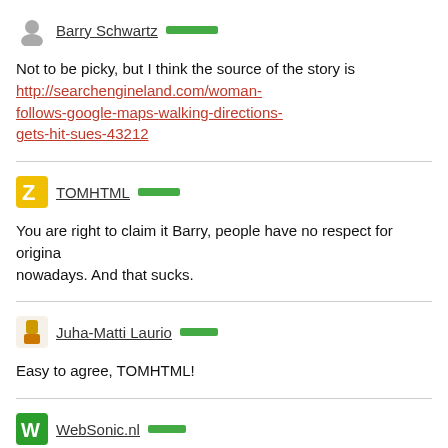Barry Schwartz
Not to be picky, but I think the source of the story is http://searchengineland.com/woman-follows-google-maps-walking-directions-gets-hit-sues-43212
TOMHTML
You are right to claim it Barry, people have no respect for origina nowadays. And that sucks.
Juha-Matti Laurio
Easy to agree, TOMHTML!
WebSonic.nl